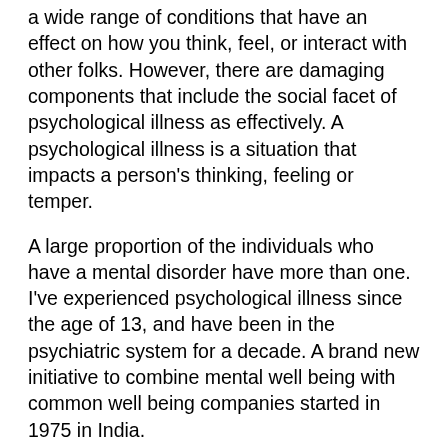a wide range of conditions that have an effect on how you think, feel, or interact with other folks. However, there are damaging components that include the social facet of psychological illness as effectively. A psychological illness is a situation that impacts a person's thinking, feeling or temper.
A large proportion of the individuals who have a mental disorder have more than one. I've experienced psychological illness since the age of 13, and have been in the psychiatric system for a decade. A brand new initiative to combine mental well being with common well being companies started in 1975 in India.
When life begins to really feel unmanageable or you are battling ideas of suicide, strive a few of the solutions under or visit for more concepts. Each Might, 1000's of sites throughout the nation provide free, native anxiety screenings, as a part of Nationwide Anxiousness Disorders Screening Day.